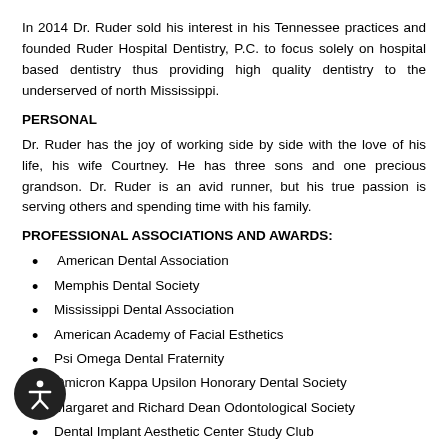In 2014 Dr. Ruder sold his interest in his Tennessee practices and founded Ruder Hospital Dentistry, P.C. to focus solely on hospital based dentistry thus providing high quality dentistry to the underserved of north Mississippi.
PERSONAL
Dr. Ruder has the joy of working side by side with the love of his life, his wife Courtney. He has three sons and one precious grandson. Dr. Ruder is an avid runner, but his true passion is serving others and spending time with his family.
PROFESSIONAL ASSOCIATIONS AND AWARDS:
American Dental Association
Memphis Dental Society
Mississippi Dental Association
American Academy of Facial Esthetics
Psi Omega Dental Fraternity
Omicron Kappa Upsilon Honorary Dental Society
Margaret and Richard Dean Odontological Society
Dental Implant Aesthetic Center Study Club
Certificate of Merit Award for Graduating with Highest Honors
Cecily W. Tipton Memorial Award for Outstanding Academic Achievement